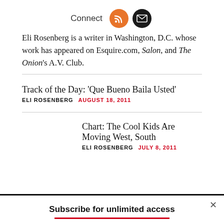Connect
Eli Rosenberg is a writer in Washington, D.C. whose work has appeared on Esquire.com, Salon, and The Onion's A.V. Club.
Track of the Day: 'Que Bueno Baila Usted'
ELI ROSENBERG   AUGUST 18, 2011
Chart: The Cool Kids Are Moving West, South
ELI ROSENBERG   JULY 8, 2011
Subscribe for unlimited access